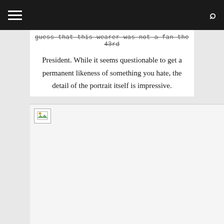[navigation bar with hamburger menu and search icon]
guess that this wearer was not a fan the 43rd President. While it seems questionable to get a permanent likeness of something you hate, the detail of the portrait itself is impressive.
[Figure (photo): Broken/unloaded image placeholder below the text content]